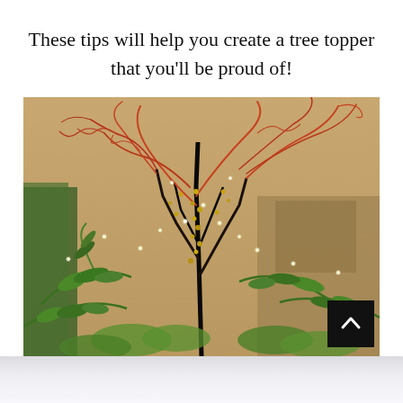These tips will help you create a tree topper that you'll be proud of!
[Figure (photo): Close-up photograph of a decorative Christmas tree topper made of curly red-orange branches, green fern fronds, small golden berries, and twinkling fairy lights, with a warm beige/taupe background and green foliage visible behind.]